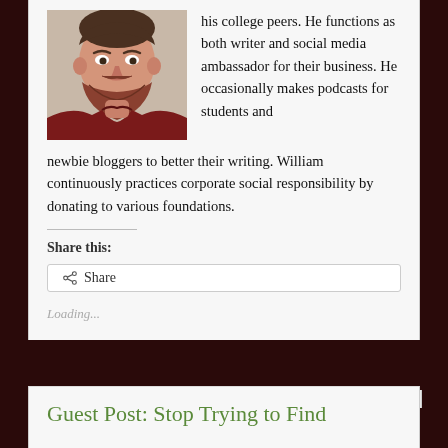[Figure (photo): Headshot of a man with a beard wearing a dark red shirt, professional photo]
his college peers. He functions as both writer and social media ambassador for their business. He occasionally makes podcasts for students and newbie bloggers to better their writing. William continuously practices corporate social responsibility by donating to various foundations.
Share this:
Share
Loading...
Guest Post: Stop Trying to Find